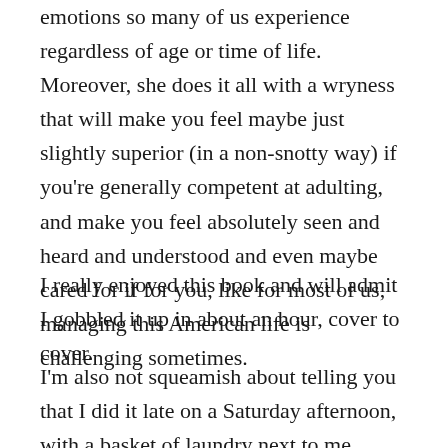emotions so many of us experience regardless of age or time of life. Moreover, she does it all with a wryness that will make you feel maybe just slightly superior (in a non-snotty way) if you're generally competent at adulting, and make you feel absolutely seen and heard and understood and even maybe cared for if for you, like for most of us, managing this American life is challenging sometimes.
I really enjoyed this book and will admit I gobbled it up in about an hour, cover to cover.
I'm also not squeamish about telling you that I did it late on a Saturday afternoon, with a basket of laundry next to me, sitting on the floor at the top of